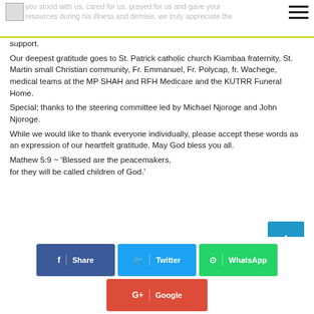you stood with us, cared for us, prayed for us and gave your resources during his illness and demise, we truly appreciate the support.
Our deepest gratitude goes to St. Patrick catholic church Kiambaa fraternity, St. Martin small Christian community, Fr. Emmanuel, Fr. Polycap, fr. Wachege, medical teams at the MP SHAH and RFH Medicare and the KUTRR Funeral Home. Special; thanks to the steering committee led by Michael Njoroge and John Njoroge. While we would like to thank everyone individually, please accept these words as an expression of our heartfelt gratitude. May God bless you all. Mathew 5:9 ~ 'Blessed are the peacemakers, for they will be called children of God.'
Share
Twitter
WhatsApp
Google